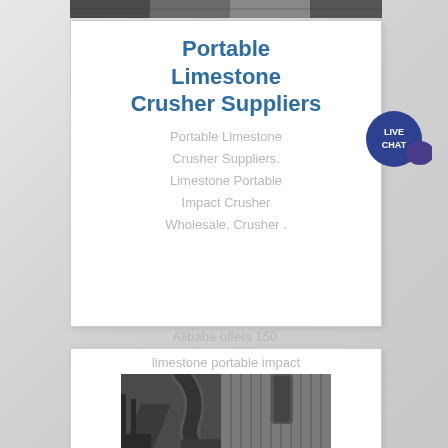[Figure (photo): Top strip showing industrial equipment photo]
Portable Limestone Crusher Suppliers
Portable Limestone Crusher Suppliers. Limestone Portable Impact Crusher Wholesale, Crusher .
[Figure (illustration): Live Chat speech bubble icon with purple chat bubble]
Alibaba offers 150
limestone portable impact
[Figure (photo): Industrial crusher machinery with large pipes, hoppers and conveyor equipment in an industrial facility]